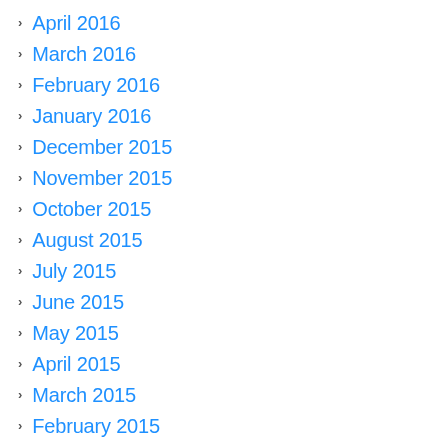April 2016
March 2016
February 2016
January 2016
December 2015
November 2015
October 2015
August 2015
July 2015
June 2015
May 2015
April 2015
March 2015
February 2015
January 2015